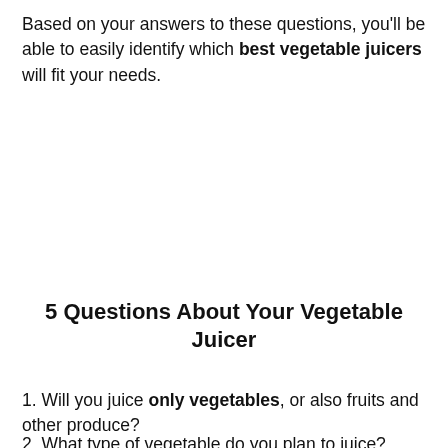Based on your answers to these questions, you'll be able to easily identify which best vegetable juicers will fit your needs.
5 Questions About Your Vegetable Juicer
1. Will you juice only vegetables, or also fruits and other produce?
2. What type of vegetable do you plan to juice?